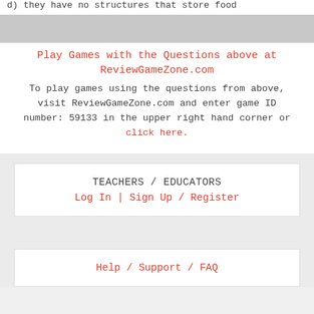d) they have no structures that store food
Play Games with the Questions above at ReviewGameZone.com
To play games using the questions from above, visit ReviewGameZone.com and enter game ID number: 59133 in the upper right hand corner or click here.
TEACHERS / EDUCATORS
Log In | Sign Up / Register
Help / Support / FAQ